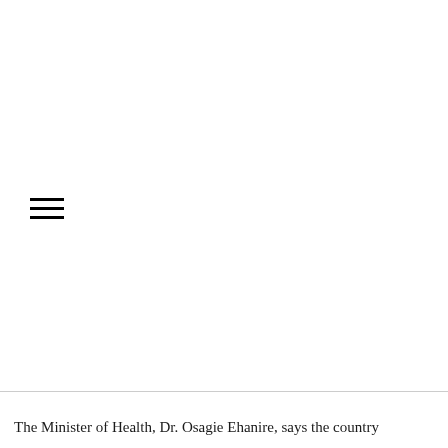[Figure (other): Menu/hamburger icon with three horizontal lines]
The Minister of Health, Dr. Osagie Ehanire, says the country